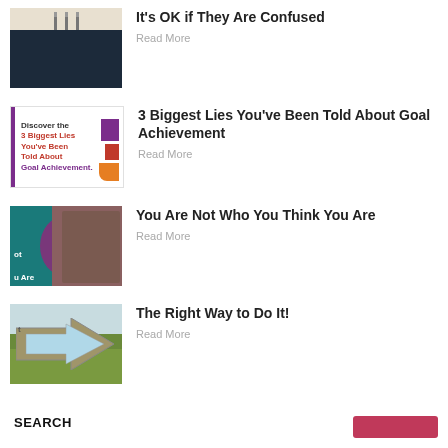[Figure (photo): Thumbnail of a person on dark background with lamps/shelves above]
It's OK if They Are Confused
Read More
[Figure (illustration): Graphic with text: Discover the 3 Biggest Lies You've Been Told About Goal Achievement, with colored shapes on right]
3 Biggest Lies You've Been Told About Goal Achievement
Read More
[Figure (photo): Thumbnail of a woman with glasses thinking, with teal overlay on left side]
You Are Not Who You Think You Are
Read More
[Figure (photo): Thumbnail of a stone arrow shape in a field against a sky background]
The Right Way to Do It!
Read More
SEARCH